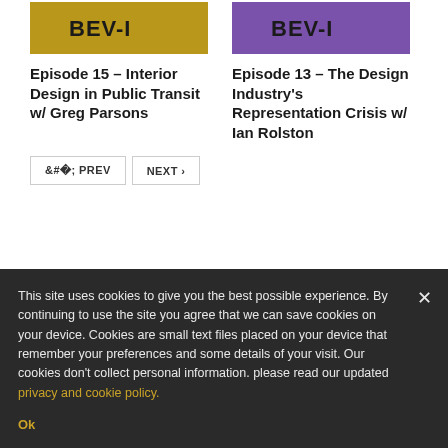[Figure (photo): Podcast thumbnail with gold background and BEVEL logo for Episode 15]
Episode 15 – Interior Design in Public Transit w/ Greg Parsons
[Figure (photo): Podcast thumbnail with purple background and BEVEL logo for Episode 13]
Episode 13 – The Design Industry's Representation Crisis w/ Ian Rolston
< PREV   NEXT >
This site uses cookies to give you the best possible experience. By continuing to use the site you agree that we can save cookies on your device. Cookies are small text files placed on your device that remember your preferences and some details of your visit. Our cookies don't collect personal information. please read our updated privacy and cookie policy.
Ok